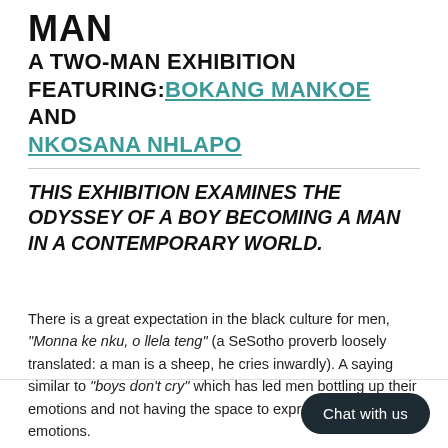MAN
A TWO-MAN EXHIBITION FEATURING: BOKANG MANKOE AND NKOSANA NHLAPO
THIS EXHIBITION EXAMINES THE ODYSSEY OF A BOY BECOMING A MAN IN A CONTEMPORARY WORLD.
There is a great expectation in the black culture for men, "Monna ke nku, o llela teng" (a SeSotho proverb loosely translated: a man is a sheep, he cries inwardly). A saying similar to "boys don't cry" which has led men bottling up their emotions and not having the space to express their emotions.